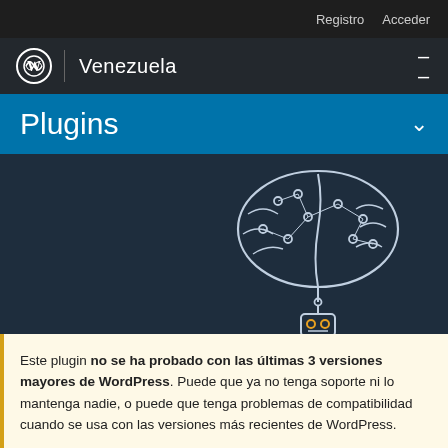Registro  Acceder
WordPress Venezuela
Plugins
[Figure (illustration): AI brain with circuit nodes connected to a robot at the bottom, white outline illustration on dark navy background]
Este plugin no se ha probado con las últimas 3 versiones mayores de WordPress. Puede que ya no tenga soporte ni lo mantenga nadie, o puede que tenga problemas de compatibilidad cuando se usa con las versiones más recientes de WordPress.